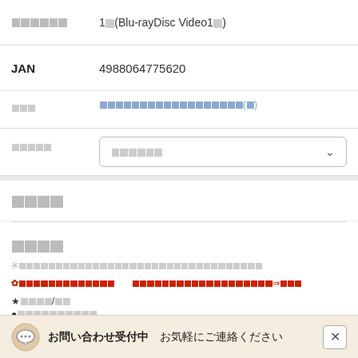| □□□□□□ | 1□(Blu-rayDisc Video1□) |
| JAN | 4988064775620 |
| □□□ | □□□□□□□□□□□□□□□□□□(□) |
| □□□□ | □□□□□□ ▾ |
□□□□
□□□□
※□□□□□□□□□□□□□□□□□□□□□□□□□□□
✿□□□□□□□□□□□□　□□□□□□□□□□□□□□□□□□□□□□⇒□□□
★□□□□/□□
●□□□□□□□□□□
お問い合わせ受付中 お気軽にご連絡ください